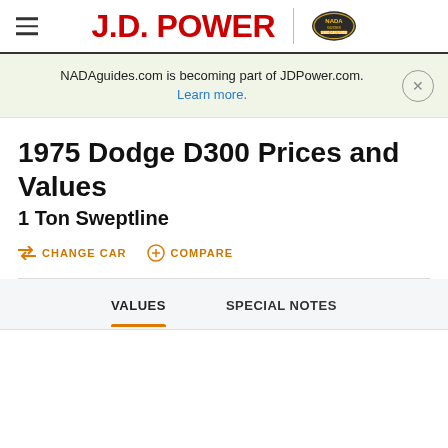J.D. POWER | NADA Guides
NADAguides.com is becoming part of JDPower.com. Learn more.
1975 Dodge D300 Prices and Values
1 Ton Sweptline
CHANGE CAR   COMPARE
VALUES   SPECIAL NOTES